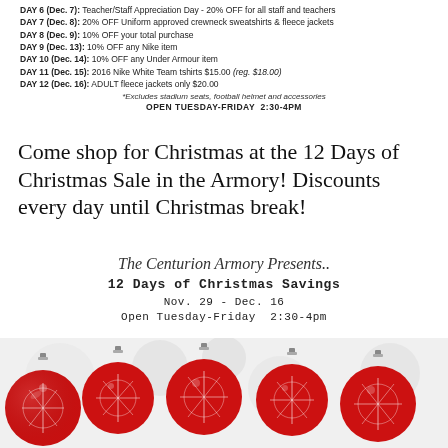DAY 6 (Dec. 7): Teacher/Staff Appreciation Day - 20% OFF for all staff and teachers
DAY 7 (Dec. 8): 20% OFF Uniform approved crewneck sweatshirts & fleece jackets
DAY 8 (Dec. 9): 10% OFF your total purchase
DAY 9 (Dec. 13): 10% OFF any Nike item
DAY 10 (Dec. 14): 10% OFF any Under Armour item
DAY 11 (Dec. 15): 2016 Nike White Team tshirts $15.00 (reg. $18.00)
DAY 12 (Dec. 16): ADULT fleece jackets only $20.00
*Excludes stadium seats, football helmet and accessories
OPEN TUESDAY-FRIDAY  2:30-4PM
Come shop for Christmas at the 12 Days of Christmas Sale in the Armory! Discounts every day until Christmas break!
The Centurion Armory Presents..
12 Days of Christmas Savings
Nov. 29 - Dec. 16
Open Tuesday-Friday  2:30-4pm
[Figure (photo): Christmas ornaments - red balls with snowflake pattern at the bottom of the page]